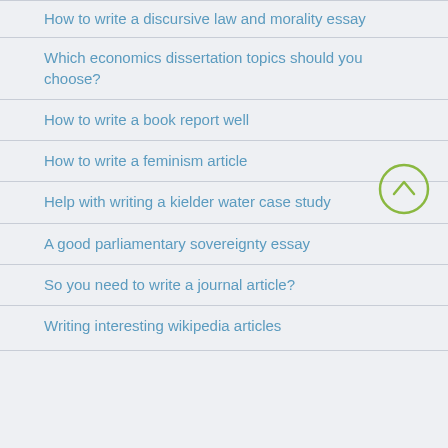How to write a discursive law and morality essay
Which economics dissertation topics should you choose?
How to write a book report well
How to write a feminism article
Help with writing a kielder water case study
A good parliamentary sovereignty essay
So you need to write a journal article?
Writing interesting wikipedia articles